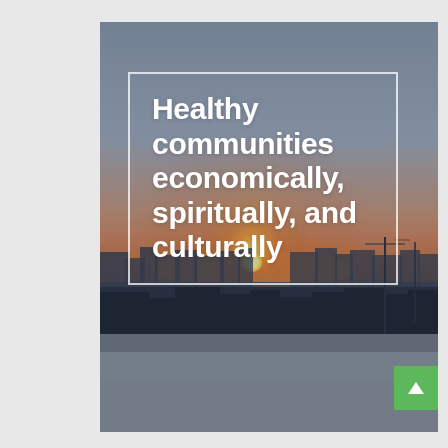[Figure (photo): Aerial photo of a northern community at sunset/dusk with warm orange horizon glow, snow-covered rooftops and buildings in the foreground, and a muted grey-blue sky above. A white rectangular border overlays the upper portion of the image containing bold white text.]
Healthy communities economically, spiritually, and culturally